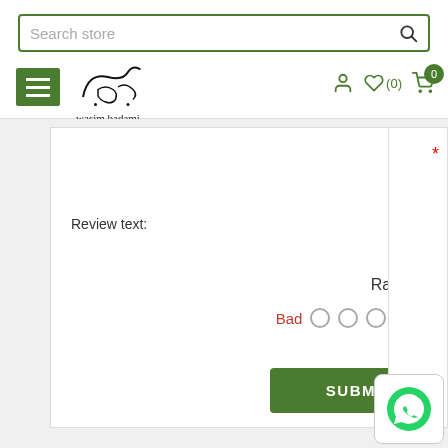Search store | wasim badami store header with navigation icons
Review text:
Rating:
Bad   ○  ○  ○  ● Excellent
SUBMIT REVIEW